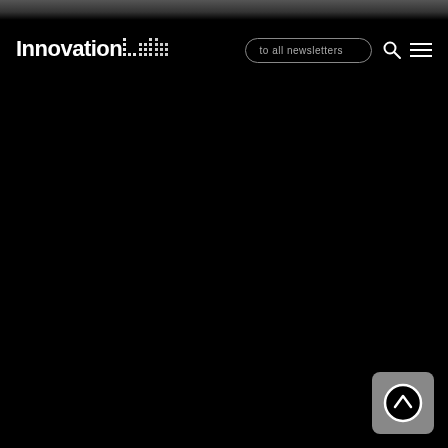[Figure (screenshot): Dark navigation bar with InnovationLab logo on the left, a pill-shaped search button reading 'to all newsletters', a search icon, and a hamburger menu icon on the right. Below is a mostly black background with a scroll-to-top button in the bottom right corner.]